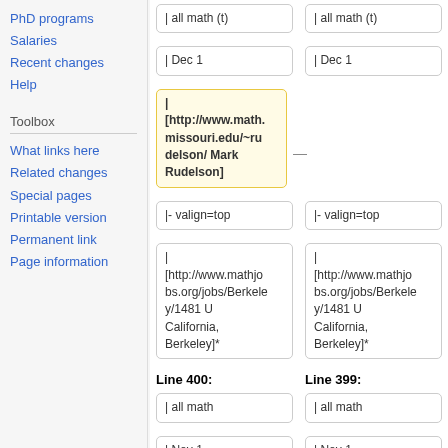PhD programs
Salaries
Recent changes
Help
Toolbox
What links here
Related changes
Special pages
Printable version
Permanent link
Page information
| all math (t)
| all math (t)
| Dec 1
| Dec 1
| [http://www.math.missouri.edu/~rudelson/ Mark Rudelson]
|- valign=top
|- valign=top
| [http://www.mathjobs.org/jobs/Berkeley/1481 U California, Berkeley]*
| [http://www.mathjobs.org/jobs/Berkeley/1481 U California, Berkeley]*
Line 400:
Line 399:
| all math
| all math
| Nov 1
| Nov 1
| (jeopardized)
| (jeopardized)